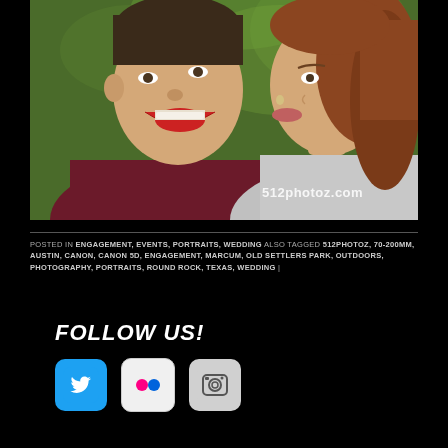[Figure (photo): Close-up photo of a laughing couple outdoors with green bokeh background. Man in dark red shirt on left, woman with reddish hair on right. Watermark '512photoz.com' visible in lower right of photo.]
POSTED IN ENGAGEMENT, EVENTS, PORTRAITS, WEDDING ALSO TAGGED 512PHOTOZ, 70-200MM, AUSTIN, CANON, CANON 5D, ENGAGEMENT, MARCUM, OLD SETTLERS PARK, OUTDOORS, PHOTOGRAPHY, PORTRAITS, ROUND ROCK, TEXAS, WEDDING |
FOLLOW US!
[Figure (logo): Twitter bird icon on blue background]
[Figure (logo): Flickr icon with pink and blue circles on white background]
[Figure (logo): Instagram camera icon on light gray background]